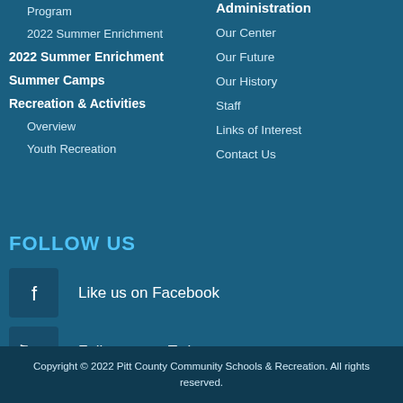Program
2022 Summer Enrichment
2022 Summer Enrichment
Summer Camps
Recreation & Activities
Overview
Youth Recreation
Administration
Our Center
Our Future
Our History
Staff
Links of Interest
Contact Us
FOLLOW US
Like us on Facebook
Follow us on Twitter
Copyright © 2022 Pitt County Community Schools & Recreation. All rights reserved.